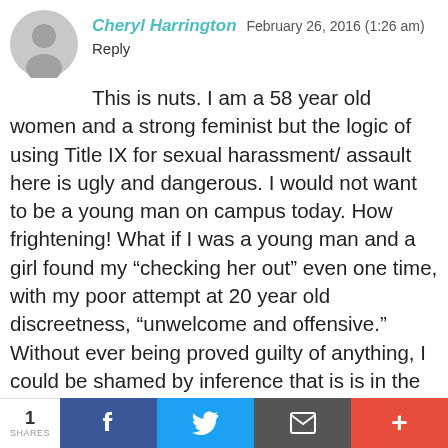Cheryl Harrington February 26, 2016 (1:26 am)
Reply
This is nuts. I am a 58 year old women and a strong feminist but the logic of using Title IX for sexual harassment/ assault here is ugly and dangerous. I would not want to be a young man on campus today. How frightening! What if I was a young man and a girl found my “checking her out” even one time, with my poor attempt at 20 year old discreetness, “unwelcome and offensive.” Without ever being proved guilty of anything, I could be shamed by inference that is is in the same category as rape – which is REAL violence. I could be asked to leave campus and my college career, my young adult life, my hopes and dreams are derailed. I think strong
1 SHARES  f  t  ✉  +